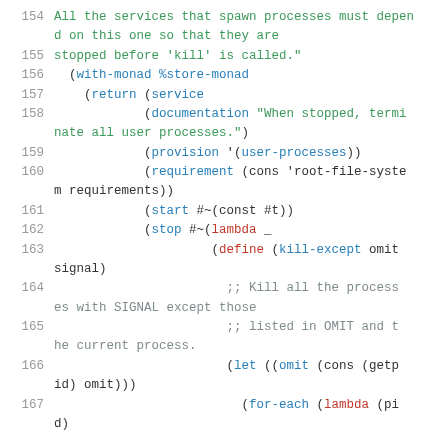Code listing lines 154-167, Scheme/Guile source code showing service definition with kill-except function
154  All the services that spawn processes must depend on this one so that they are
155  stopped before 'kill' is called."
156    (with-monad %store-monad
157      (return (service
158              (documentation "When stopped, terminate all user processes.")
159              (provision '(user-processes))
160              (requirement (cons 'root-file-system requirements))
161              (start #~(const #t))
162              (stop #~(lambda _
163                       (define (kill-except omit signal)
164                         ;; Kill all the processes with SIGNAL except those
165                         ;; listed in OMIT and the current process.
166                         (let ((omit (cons (getpid) omit)))
167                         (for-each (lambda (pid)